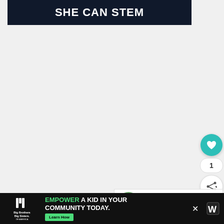SHE CAN STEM
[Figure (screenshot): Floating heart/like button (teal circle with heart icon), count '1', and share button]
[Figure (screenshot): What's Next panel with thumbnail image and text 'Top 10 Things To Do In...']
CONTENTS [hide]
[Figure (screenshot): Bottom advertisement bar: Big Brothers Big Sisters logo, 'EMPOWER A KID IN YOUR COMMUNITY TODAY.' ad text, green Learn How button, close X button]